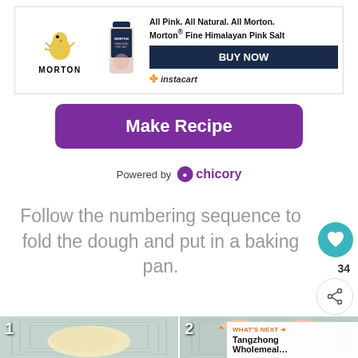[Figure (illustration): Morton Fine Himalayan Pink Salt advertisement banner with Morton chick logo, salt product image, tagline, BUY NOW button, and Instacart branding]
All Pink. All Natural. All Morton. Morton® Fine Himalayan Pink Salt
BUY NOW
instacart
[Figure (illustration): Purple 'Make Recipe' button]
Make Recipe
Powered by chicory
Follow the numbering sequence to fold the dough and put in a baking pan.
[Figure (photo): Two-panel step photo: step 1 shows dough ball on a measuring mat, step 2 shows hands using rolling pin on dough. What's Next overlay showing Tangzhong Wholemeal...]